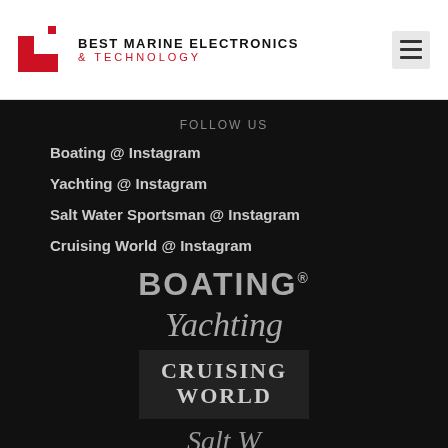BEST MARINE ELECTRONICS & TECHNOLOGY
FOLLOW US
Boating @ Instagram
Yachting @ Instagram
Salt Water Sportsman @ Instagram
Cruising World @ Instagram
[Figure (logo): BOATING magazine logo in bold uppercase gray text]
[Figure (logo): Yachting magazine logo in italic serif gray text]
[Figure (logo): Cruising World magazine logo in bold uppercase serif text on dark background]
[Figure (logo): Salt Water Sportsman magazine logo partially visible in italic gray text]